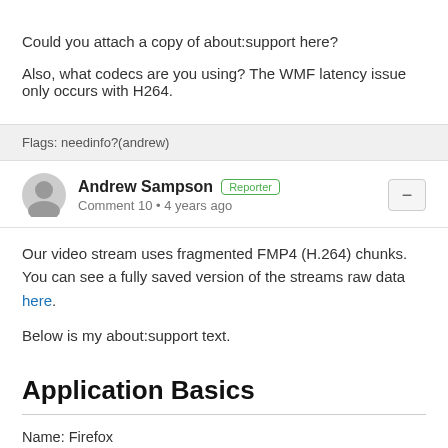Could you attach a copy of about:support here?

Also, what codecs are you using? The WMF latency issue only occurs with H264.
Flags: needinfo?(andrew)
Andrew Sampson [Reporter] Comment 10 • 4 years ago
Our video stream uses fragmented FMP4 (H.264) chunks. You can see a fully saved version of the streams raw data here.

Below is my about:support text.
Application Basics
Name: Firefox
Version: 64.0.2
Build ID: 20190108160530
Update Channel: release